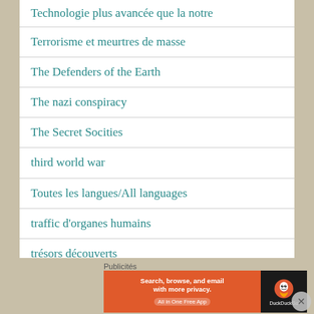Technologie plus avancée que la notre
Terrorisme et meurtres de masse
The Defenders of the Earth
The nazi conspiracy
The Secret Socities
third world war
Toutes les langues/All languages
traffic d'organes humains
trésors découverts
Publicités